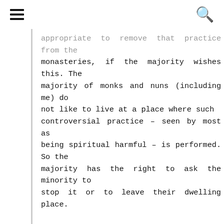[hamburger menu] [search icon]
appropriate to remove that practice from the monasteries, if the majority wishes this. The majority of monks and nuns (including me) do not like to live at a place where such controversial practice – seen by most as being spiritual harmful – is performed. So the majority has the right to ask the minority to stop it or to leave their dwelling place.
More over HHDL does not force his view onto others, others accept the view and reasoning of HHDL on Shugden as wise and acceptable. It is the personal freedom to accept or to reject his views. Those who wish to practice Shugden con do but not in the established Gelug monasteries. Nobody is forced to follow or to accept HHDL's views – unlike in